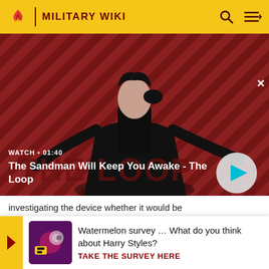MILITARY WIKI
[Figure (screenshot): Video banner showing a dark-cloaked figure with a raven, against a red diagonal striped background. Shows 'WATCH • 01:40' label and title 'The Sandman Will Keep You Awake - The Loop' with a play button.]
investigating the device whether it would be considered "device for noiseless shooting" or not. That concerns n only such suppr
Watermelon survey … What do you think about Harry Styles? TAKE THE SURVEY HERE